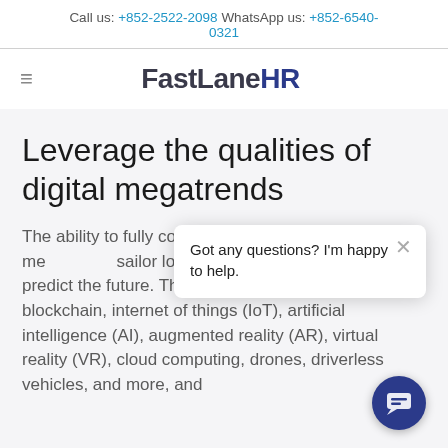Call us: +852-2522-2098 WhatsApp us: +852-6540-0321
FastLane HR
Leverage the qualities of digital megatrends
The ability to fully comp… the impact of digital me… sailor looking through h… predict the future. These megatrends include blockchain, internet of things (IoT), artificial intelligence (AI), augmented reality (AR), virtual reality (VR), cloud computing, drones, driverless vehicles, and more, and